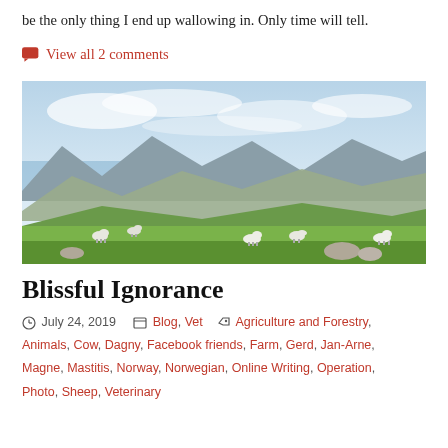be the only thing I end up wallowing in. Only time will tell.
View all 2 comments
[Figure (photo): Landscape photo showing sheep grazing on green hillside with rocky mountains and fjord in background under partly cloudy sky, likely Norway.]
Blissful Ignorance
July 24, 2019   Blog, Vet   Agriculture and Forestry, Animals, Cow, Dagny, Facebook friends, Farm, Gerd, Jan-Arne, Magne, Mastitis, Norway, Norwegian, Online Writing, Operation, Photo, Sheep, Veterinary